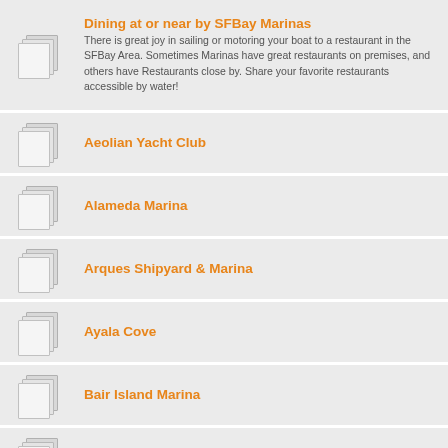Dining at or near by SFBay Marinas
There is great joy in sailing or motoring your boat to a restaurant in the SFBay Area. Sometimes Marinas have great restaurants on premises, and others have Restaurants close by. Share your favorite restaurants accessible by water!
Aeolian Yacht Club
Alameda Marina
Arques Shipyard & Marina
Ayala Cove
Bair Island Marina
Ballena Isle Marina
Benicia Marina